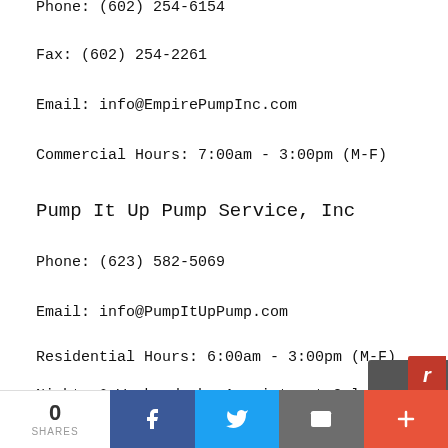Phone: (602) 254-6154
Fax: (602) 254-2261
Email: info@EmpirePumpInc.com
Commercial Hours: 7:00am - 3:00pm (M-F)
Pump It Up Pump Service, Inc
Phone: (623) 582-5069
Email: info@PumpItUpPump.com
Residential Hours: 6:00am - 3:00pm (M-F)
Nights & Weekends by Appointment Only
0 SHARES | Facebook | Twitter | Email | More